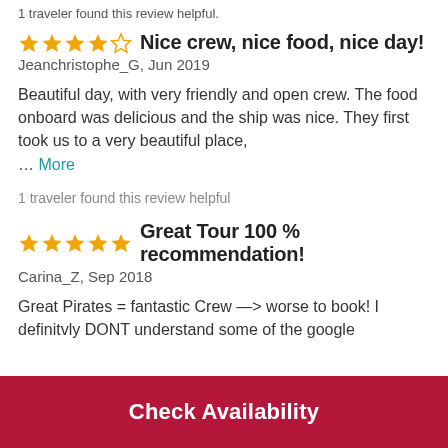1 traveler found this review helpful.
Nice crew, nice food, nice day!
Jeanchristophe_G, Jun 2019
Beautiful day, with very friendly and open crew. The food onboard was delicious and the ship was nice. They first took us to a very beautiful place, … More
1 traveler found this review helpful
Great Tour 100 % recommendation!
Carina_Z, Sep 2018
Great Pirates = fantastic Crew —> worse to book! I definitvly DONT understand some of the google
Check Availability